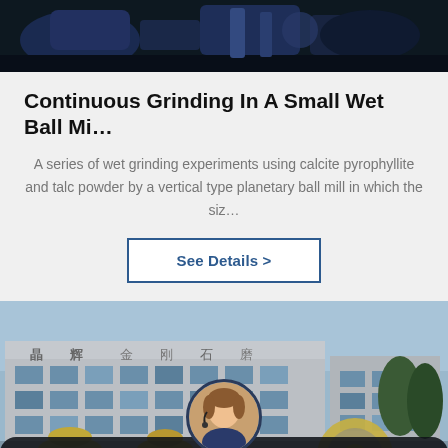[Figure (photo): Top portion of industrial machinery photograph, showing dark blue mechanical equipment]
Continuous Grinding In A Small Wet Ball Mi…
A series of wet grinding experiments using calcite pyrophyllite and talc powder by a vertical type planetary ball mill in which the siz…
See Details >
[Figure (photo): Factory building with Chinese characters on facade, yellow industrial grinding equipment in foreground, blue sky with trees. Customer service avatar overlay at bottom center with headset. Bottom bar with Leave Message and Chat Online buttons.]